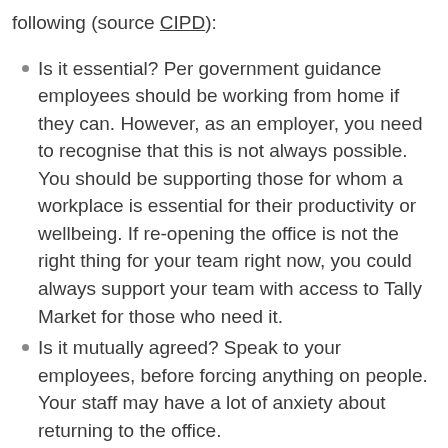following (source CIPD):
Is it essential? Per government guidance employees should be working from home if they can. However, as an employer, you need to recognise that this is not always possible. You should be supporting those for whom a workplace is essential for their productivity or wellbeing. If re-opening the office is not the right thing for your team right now, you could always support your team with access to Tally Market for those who need it.
Is it mutually agreed? Speak to your employees, before forcing anything on people. Your staff may have a lot of anxiety about returning to the office.